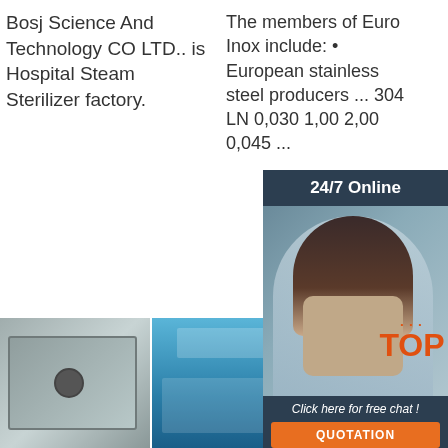Bosj Science And Technology CO LTD.. is Hospital Steam Sterilizer factory.
Get Price
The members of Euro Inox include: • European stainless steel producers ... 304 LN 0,030 1,00 2,00 0,045 ...
24/7 Online
Click here for free chat !
QUOTATION
Get Price
[Figure (photo): Bottom strip of three industrial images: metal plate with hole, blue industrial machine, gear/mechanical part with TOP logo overlay]